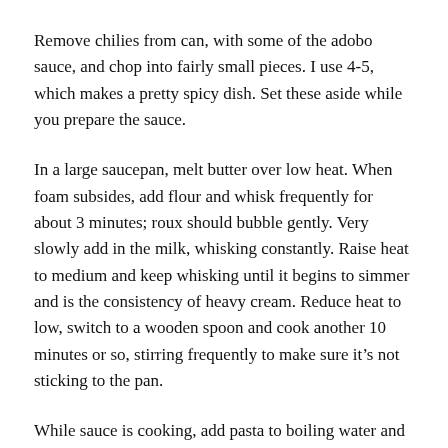Remove chilies from can, with some of the adobo sauce, and chop into fairly small pieces. I use 4-5, which makes a pretty spicy dish. Set these aside while you prepare the sauce.
In a large saucepan, melt butter over low heat. When foam subsides, add flour and whisk frequently for about 3 minutes; roux should bubble gently. Very slowly add in the milk, whisking constantly. Raise heat to medium and keep whisking until it begins to simmer and is the consistency of heavy cream. Reduce heat to low, switch to a wooden spoon and cook another 10 minutes or so, stirring frequently to make sure it’s not sticking to the pan.
While sauce is cooking, add pasta to boiling water and cook until al dente. Drain and reserve.